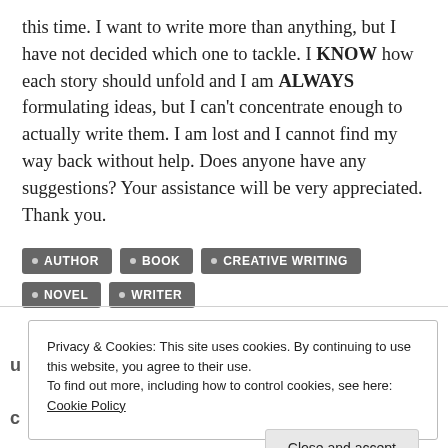this time. I want to write more than anything, but I have not decided which one to tackle. I KNOW how each story should unfold and I am ALWAYS formulating ideas, but I can't concentrate enough to actually write them. I am lost and I cannot find my way back without help. Does anyone have any suggestions? Your assistance will be very appreciated. Thank you.
• AUTHOR   • BOOK   • CREATIVE WRITING   • NOVEL   • WRITER
Privacy & Cookies: This site uses cookies. By continuing to use this website, you agree to their use.
To find out more, including how to control cookies, see here: Cookie Policy
Close and accept